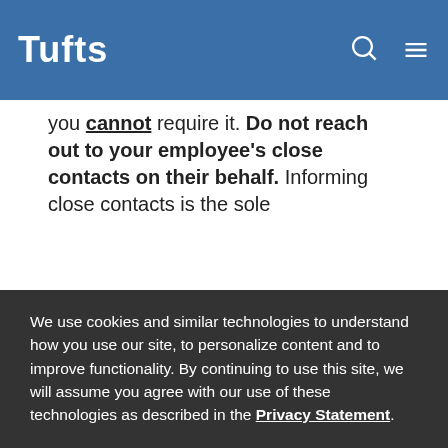Tufts
you cannot require it. Do not reach out to your employee’s close contacts on their behalf. Informing close contacts is the sole
We use cookies and similar technologies to understand how you use our site, to personalize content and to improve functionality. By continuing to use this site, we will assume you agree with our use of these technologies as described in the Privacy Statement.
Accept and Continue